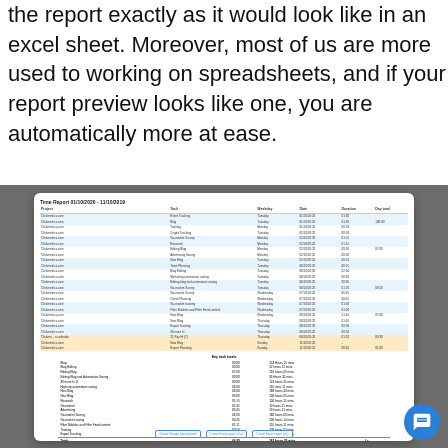the report exactly as it would look like in an excel sheet. Moreover, most of us are more used to working on spreadsheets, and if your report preview looks like one, you are automatically more at ease.
[Figure (screenshot): Screenshot of a time report generated in a spreadsheet-style view, showing a Time Report dated 01/10/2020 - 11/10/2019, with columns for Project, Task, Weekday, Date, Duration, Day total. Rows are alternately shaded blue and white with some orange highlighted rows. Below the main table is a summary section with task totals. At the bottom are three buttons: Create Google Spreadsheet, Create Excel report (xlsx), Create Excel report (xls).]